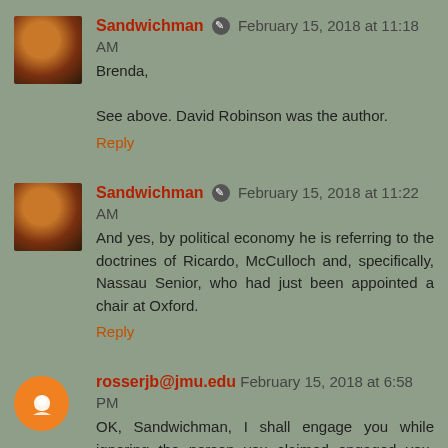Sandwichman  February 15, 2018 at 11:18 AM
Brenda,

See above. David Robinson was the author.
Reply
Sandwichman  February 15, 2018 at 11:22 AM
And yes, by political economy he is referring to the doctrines of Ricardo, McCulloch and, specifically, Nassau Senior, who had just been appointed a chair at Oxford.
Reply
rosserjb@jmu.edu  February 15, 2018 at 6:58 PM
OK, Sandwichman, I shall engage you while ignoring the person you claimed engaged you, while not doing so in any particularly insightful or even accurate way.s
So, what you poste is the front end of a